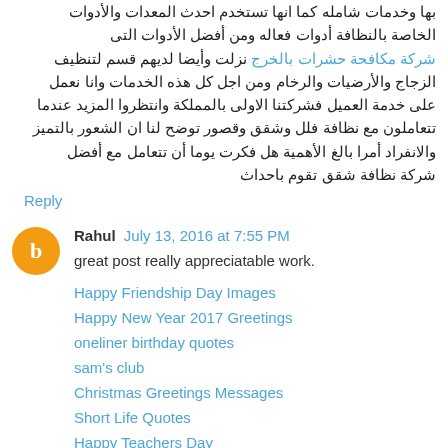بها وخدمات شامله كما انها تستخدم احدث المعدات والأدوات الخاصة بالنظافة أدوات فعاله ومن أفضل الأدوات التى شركة مكافحة حشرات بالخرج نزلت وأيضا لديهم قسم لتنظيف الزجاج والأرضيات والرخام ومن اجل كل هذه الخدمات وانا نعمل على خدمة العميل فشركتنا الاولى بالمملكة وانتظروا المزيد عندما تتعاملون مع نظافة فلل وشقق وقصور توضح لنا ان الشعور بالتميز والانفراد أمرا بالغ الأهمية هل فكرت يوما أن تتعامل مع أفضل شركة نظافة شقق تقوم باحداث
Reply
Rahul  July 13, 2016 at 7:55 PM
great post really appreciatable work.
Happy Friendship Day Images
Happy New Year 2017 Greetings
oneliner birthday quotes
sam's club
Christmas Greetings Messages
Short Life Quotes
Happy Teachers Day
Awesome Whatsapp Status